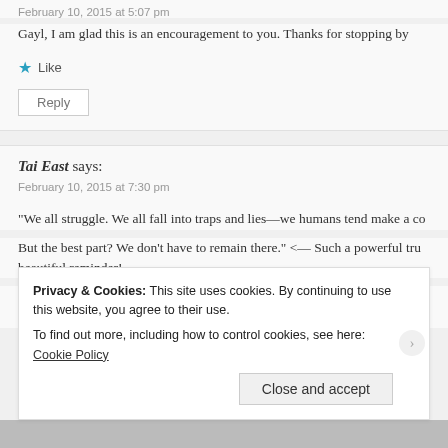February 10, 2015 at 5:07 pm
Gayl, I am glad this is an encouragement to you. Thanks for stopping by
Like
Reply
Tai East says:
February 10, 2015 at 7:30 pm
“We all struggle. We all fall into traps and lies—we humans tend make a co
But the best part? We don’t have to remain there.” <— Such a powerful tru beautiful reminder!
I’m praying for you! Infinite blessings to you, Love! 🙂
Privacy & Cookies: This site uses cookies. By continuing to use this website, you agree to their use. To find out more, including how to control cookies, see here: Cookie Policy
Close and accept